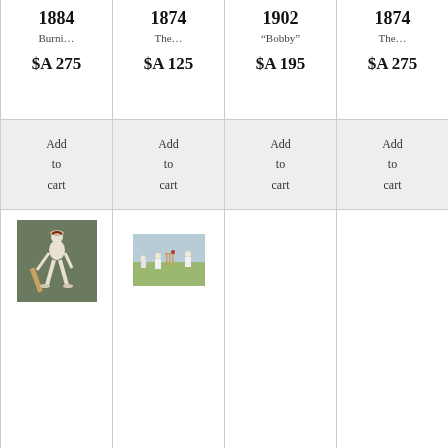1884
Burni...
$A 275
Add
to
cart
[Figure (photo): Cricket player batting, sepia/green background]
1874
The...
$A 125
Add
to
cart
[Figure (photo): Cricket players scene, illustrated/painted style]
1902
"Bobby"
$A 195
Add
to
cart
1874
The...
$A 275
Add
to
cart